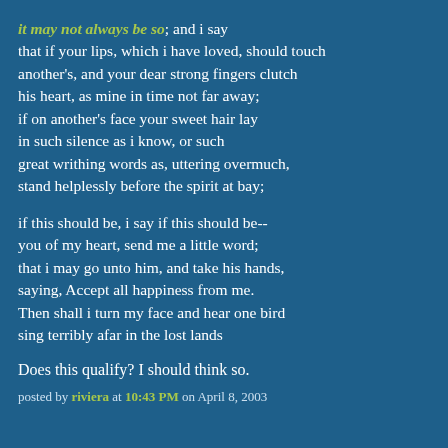it may not always be so; and i say
that if your lips, which i have loved, should touch
another's, and your dear strong fingers clutch
his heart, as mine in time not far away;
if on another's face your sweet hair lay
in such silence as i know, or such
great writhing words as, uttering overmuch,
stand helplessly before the spirit at bay;

if this should be, i say if this should be--
you of my heart, send me a little word;
that i may go unto him, and take his hands,
saying, Accept all happiness from me.
Then shall i turn my face and hear one bird
sing terribly afar in the lost lands
Does this qualify? I should think so.
posted by riviera at 10:43 PM on April 8, 2003